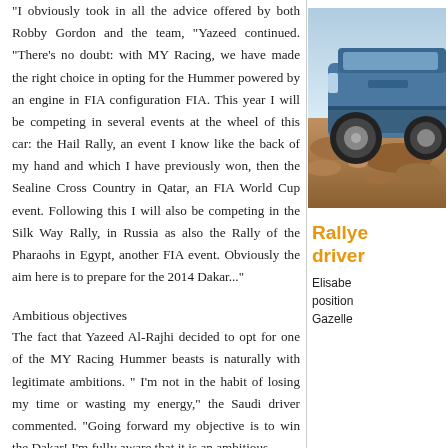"I obviously took in all the advice offered by both Robby Gordon and the team," Yazeed continued. "There's no doubt: with MY Racing, we have made the right choice in opting for the Hummer powered by an engine in FIA configuration FIA. This year I will be competing in several events at the wheel of this car: the Hail Rally, an event I know like the back of my hand and which I have previously won, then the Sealine Cross Country in Qatar, an FIA World Cup event. Following this I will also be competing in the Silk Way Rally, in Russia as also the Rally of the Pharaohs in Egypt, another FIA event. Obviously the aim here is to prepare for the 2014 Dakar..."
Ambitious objectives
The fact that Yazeed Al-Rajhi decided to opt for one of the MY Racing Hummer beasts is naturally with legitimate ambitions. " I'm not in the habit of losing my time or wasting my energy," the Saudi driver commented. "Going forward my objective is to win the Dakar! I'm fully aware that it is an ambitious
[Figure (photo): Photo of a blue off-road Hummer vehicle on rocky desert terrain, partially visible on right side of page]
Rallye driver Elisabe position Gazelle